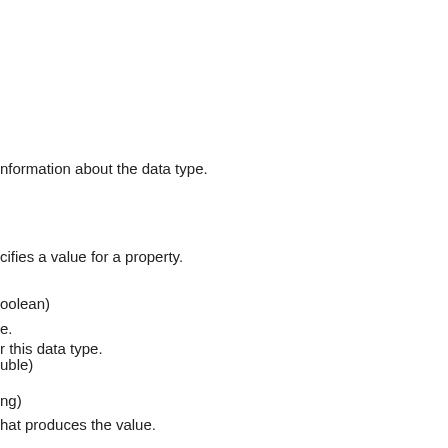nformation about the data type.
r this data type.
cifies a value for a property.
oolean)
e.
uble)
ng)
hat produces the value.